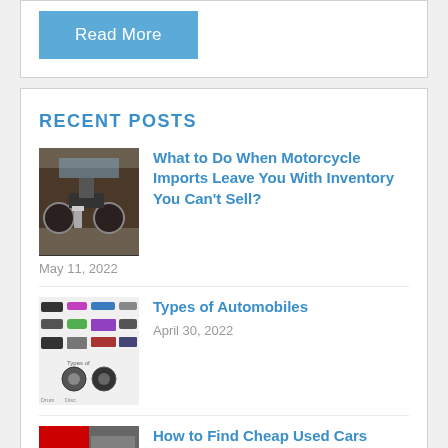Read More
RECENT POSTS
[Figure (photo): Motorcycle imports parked together in a lot]
What to Do When Motorcycle Imports Leave You With Inventory You Can't Sell?
May 11, 2022
[Figure (infographic): Types of Automobiles infographic showing various car types]
Types of Automobiles
April 30, 2022
[Figure (photo): How to Find Cheap Used Cars - license plate and car imagery]
How to Find Cheap Used Cars